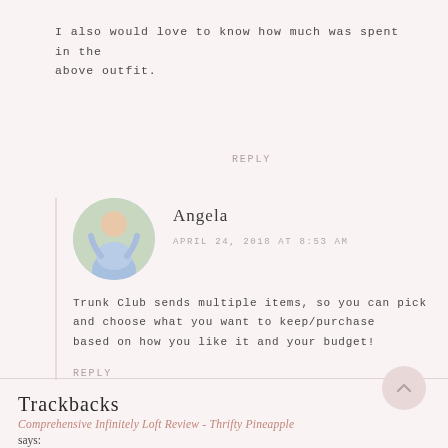I also would love to know how much was spent in the above outfit.
REPLY
Angela
APRIL 24, 2018 AT 8:53 AM
Trunk Club sends multiple items, so you can pick and choose what you want to keep/purchase based on how you like it and your budget!
REPLY
Trackbacks
Comprehensive Infinitely Loft Review - Thrifty Pineapple says: